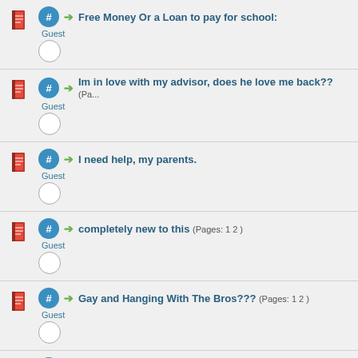Free Money Or a Loan to pay for school: - Guest
Im in love with my advisor, does he love me back?? (Pages...) - Guest
I need help, my parents. - Guest
completely new to this (Pages: 1 2) - Guest
Gay and Hanging With The Bros??? (Pages: 1 2) - Guest
My poor baby kitten died today (Pages: 1 2) - Guest
sex has died (Pages: 1 2) - Anonymous
How will I know? (Pages: 1 2 3) - Guest